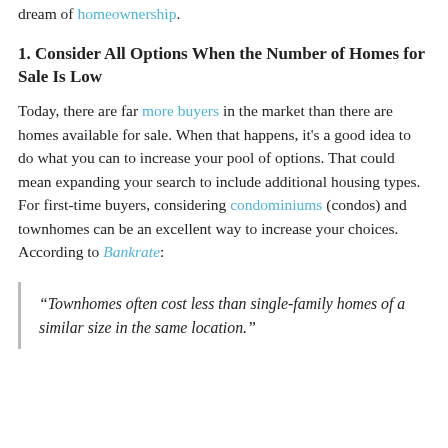dream of homeownership.
1. Consider All Options When the Number of Homes for Sale Is Low
Today, there are far more buyers in the market than there are homes available for sale. When that happens, it's a good idea to do what you can to increase your pool of options. That could mean expanding your search to include additional housing types. For first-time buyers, considering condominiums (condos) and townhomes can be an excellent way to increase your choices. According to Bankrate:
“Townhomes often cost less than single-family homes of a similar size in the same location.”